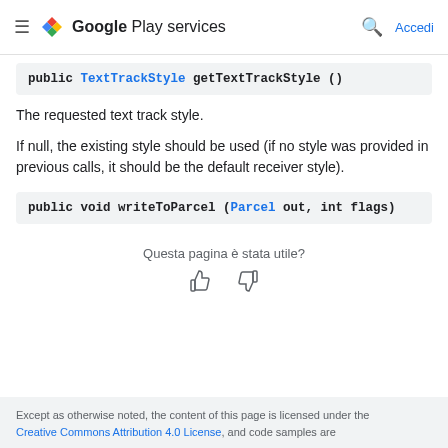Google Play services — Accedi
public TextTrackStyle getTextTrackStyle ()
The requested text track style.
If null, the existing style should be used (if no style was provided in previous calls, it should be the default receiver style).
public void writeToParcel (Parcel out, int flags)
Questa pagina è stata utile?
Except as otherwise noted, the content of this page is licensed under the Creative Commons Attribution 4.0 License, and code samples are